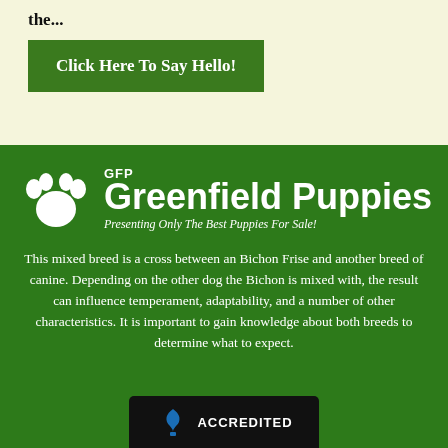the...
Click Here To Say Hello!
[Figure (logo): Greenfield Puppies logo with GFP text, paw print icon, large 'Greenfield Puppies' text and tagline 'Presenting Only The Best Puppies For Sale!']
This mixed breed is a cross between an Bichon Frise and another breed of canine. Depending on the other dog the Bichon is mixed with, the result can influence temperament, adaptability, and a number of other characteristics. It is important to gain knowledge about both breeds to determine what to expect.
[Figure (logo): BBB Accredited Business logo in black bar at bottom]